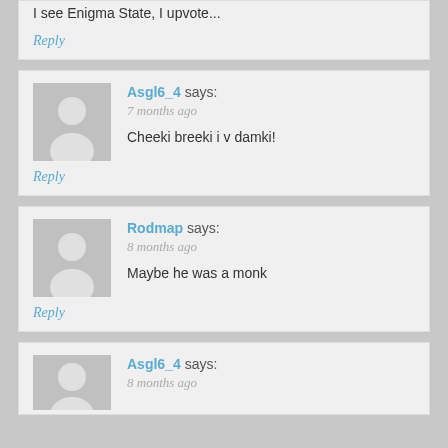I see Enigma State, I upvote...
Reply
Asgl6_4 says:
7 months ago
Cheeki breeki i v damki!
Reply
Rodmap says:
8 months ago
Maybe he was a monk
Reply
Asgl6_4 says:
8 months ago